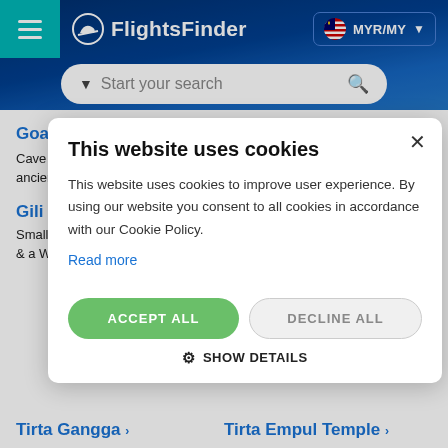[Figure (screenshot): FlightsFinder website header with teal hamburger menu, navy blue background, logo, MYR/MY currency selector, and search bar reading 'Start your search']
Goa Gajah >
Komodo National Park
Cave famed for ancient carvin...
Gili Trawanga...
Small island wi... & a WWII tunne...
Tirta Gangga >
Tirta Empul Temple >
[Figure (screenshot): Cookie consent modal dialog with title 'This website uses cookies', body text about cookies improving user experience and Cookie Policy, 'Read more' link, 'ACCEPT ALL' green button, 'DECLINE ALL' grey button, and 'SHOW DETAILS' option with gear icon]